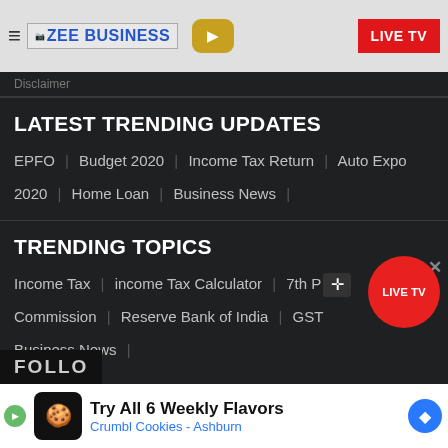ZEE BUSINESS | LIVE TV
Disclaimer
LATEST TRENDING UPDATES
EPFO | Budget 2020 | Income Tax Return | Auto Expo 2020 | Home Loan | Business News |
TRENDING TOPICS
Income Tax | income Tax Calculator | 7th Pay Commission | Reserve Bank of India | GST | Business News |
[Figure (screenshot): Red circular LIVE TV floating button with move cursor icon]
FOLLO
[Figure (screenshot): Advertisement banner: Try All 6 Weekly Flavors - Crumbl Cookies - Ashburn]